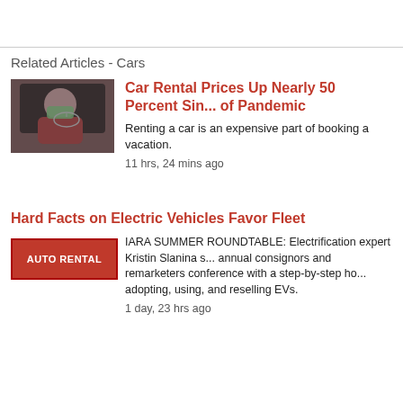Related Articles - Cars
Car Rental Prices Up Nearly 50 Percent Since Start of Pandemic
[Figure (photo): Person wearing a mask in a car holding glasses]
Renting a car is an expensive part of booking a vacation.
11 hrs, 24 mins ago
Hard Facts on Electric Vehicles Favor Fleet
[Figure (logo): AUTO RENTAL logo in red rectangle]
IARA SUMMER ROUNDTABLE: Electrification expert Kristin Slanina shared her knowledge at the annual consignors and remarketers conference with a step-by-step how-to on adopting, using, and reselling EVs.
1 day, 23 hrs ago